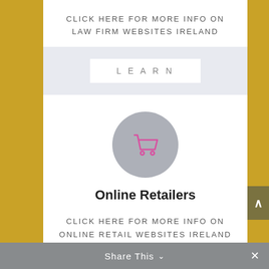CLICK HERE FOR MORE INFO ON LAW FIRM WEBSITES IRELAND
[Figure (illustration): A 'LEARN' button on a light blue-grey band background]
[Figure (illustration): Shopping cart icon in pink/magenta on a grey circle]
Online Retailers
CLICK HERE FOR MORE INFO ON ONLINE RETAIL WEBSITES IRELAND
Share This ∨  ✕